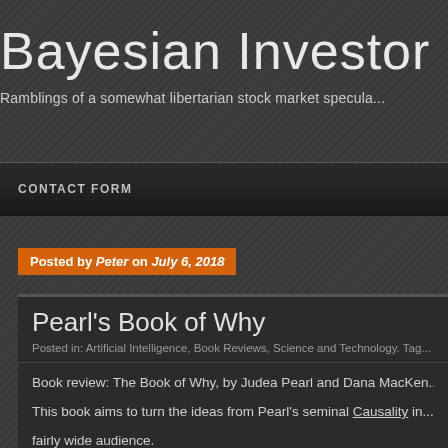Bayesian Investor Blog
Ramblings of a somewhat libertarian stock market specula...
CONTACT FORM
Posted by Peter on July 6, 2018
Pearl's Book of Why
Posted in: Artificial Intelligence, Book Reviews, Science and Technology. Tag...
Book review: The Book of Why, by Judea Pearl and Dana MacKen...
This book aims to turn the ideas from Pearl's seminal Causality in... fairly wide audience.